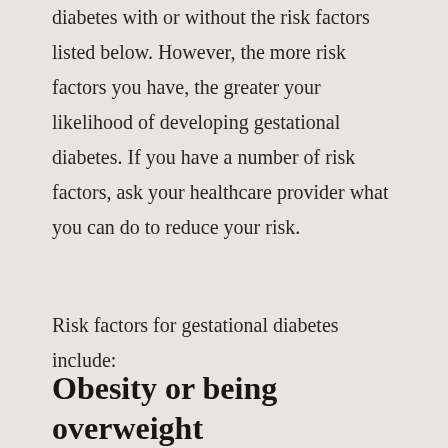It is possible to develop gestational diabetes with or without the risk factors listed below. However, the more risk factors you have, the greater your likelihood of developing gestational diabetes. If you have a number of risk factors, ask your healthcare provider what you can do to reduce your risk.
Risk factors for gestational diabetes include:
Obesity or being overweight